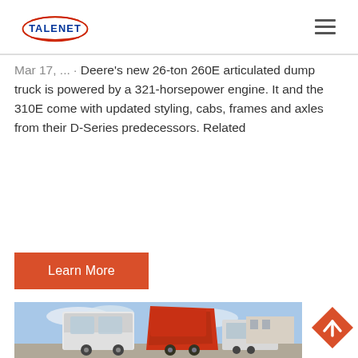TALENET [logo] [hamburger menu]
Mar 17, ... · Deere's new 26-ton 260E articulated dump truck is powered by a 321-horsepower engine. It and the 310E come with updated styling, cabs, frames and axles from their D-Series predecessors. Related
Learn More
[Figure (photo): Truck cab photo showing white and red heavy trucks in a yard under blue sky]